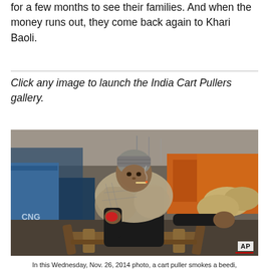for a few months to see their families. And when the money runs out, they come back again to Khari Baoli.
Click any image to launch the India Cart Pullers gallery.
[Figure (photo): A cart puller smoking a beedi at Khari Baoli, New Delhi, India. The man is wearing a grey checkered shawl wrapped around his shoulders, standing behind a wooden cart. Busy street scene in background with trucks and other workers. AP watermark in bottom right corner.]
In this Wednesday, Nov. 26, 2014 photo, a cart puller smokes a beedi,